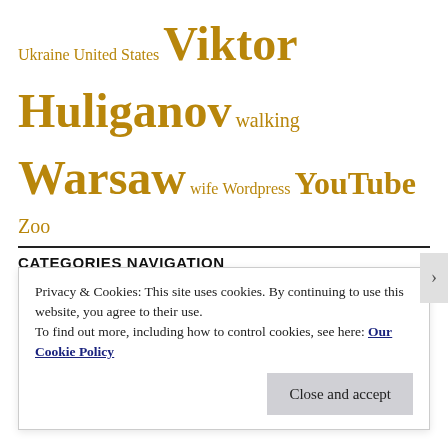Ukraine United States Viktor Huliganov walking Warsaw wife Wordpress YouTube Zoo
CATEGORIES NAVIGATION
Select Category
BACK BY POPULAR DEMAND, RECENT COMMENTS...
Privacy & Cookies: This site uses cookies. By continuing to use this website, you agree to their use.
To find out more, including how to control cookies, see here: Our Cookie Policy
Close and accept